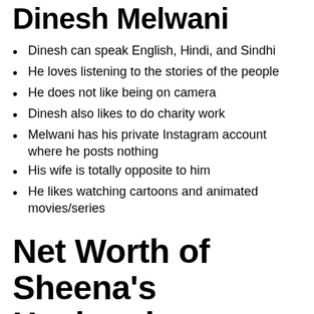Dinesh Melwani
Dinesh can speak English, Hindi, and Sindhi
He loves listening to the stories of the people
He does not like being on camera
Dinesh also likes to do charity work
Melwani has his private Instagram account where he posts nothing
His wife is totally opposite to him
He likes watching cartoons and animated movies/series
Net Worth of Sheena's Husband